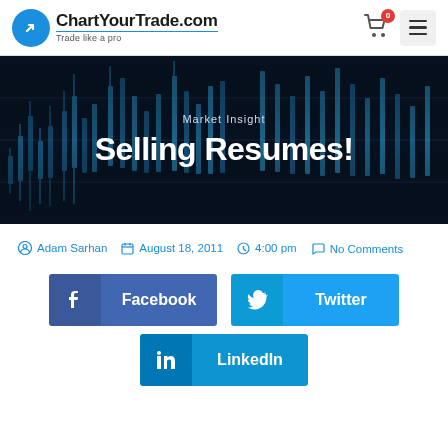[Figure (logo): ChartYourTrade.com logo with blue circle arrow icon and tagline 'Trade like a pro']
[Figure (screenshot): Dark financial candlestick chart background banner with text 'Market Insight' and 'Selling Resumes!']
Adam Sarhan   August 18, 2011   4:00 pm
No Comments
[Figure (infographic): Facebook share button]
[Figure (infographic): Twitter share button]
[Figure (infographic): LinkedIn share button (partially visible)]